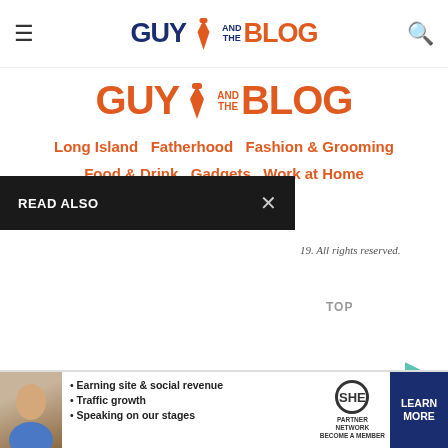GUY AND THE BLOG
[Figure (logo): Guy and the Blog logo - large orange version]
Long Island  Fatherhood  Fashion & Grooming  Food & Drink  Gadgets  Work at Home  Media Kit
READ ALSO
19. All rights reserved.
TOP
FAMILY
Privacy
[Figure (infographic): SHE Partner Network advertisement banner with bullet points: Earning site & social revenue, Traffic growth, Speaking on our stages. Includes LEARN MORE button.]